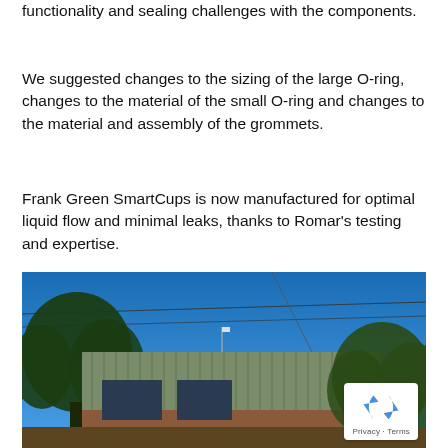functionality and sealing challenges with the components.
We suggested changes to the sizing of the large O-ring, changes to the material of the small O-ring and changes to the material and assembly of the grommets.
Frank Green SmartCups is now manufactured for optimal liquid flow and minimal leaks, thanks to Romar's testing and expertise.
[Figure (photo): Exterior photo of a building with a green corrugated metal roof, brick lower section, and trees in the foreground against a clear blue sky with utility lines visible.]